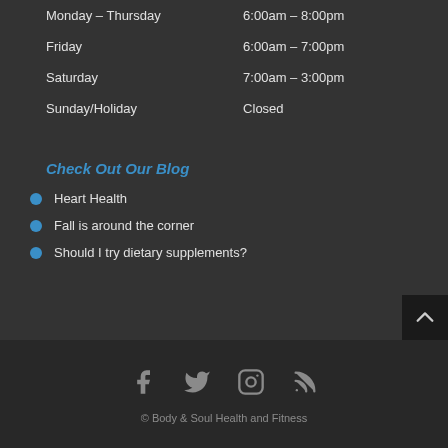| Monday – Thursday | 6:00am – 8:00pm |
| Friday | 6:00am – 7:00pm |
| Saturday | 7:00am – 3:00pm |
| Sunday/Holiday | Closed |
Check Out Our Blog
Heart Health
Fall is around the corner
Should I try dietary supplements?
© Body & Soul Health and Fitness